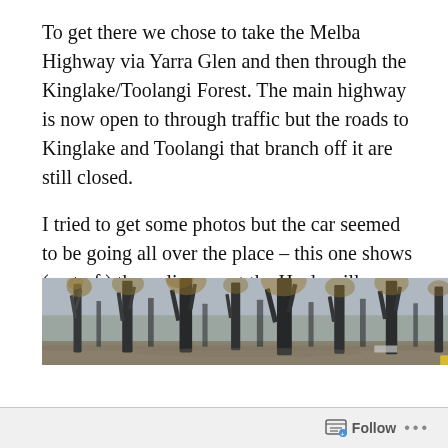To get there we chose to take the Melba Highway via Yarra Glen and then through the Kinglake/Toolangi Forest. The main highway is now open to through traffic but the roads to Kinglake and Toolangi that branch off it are still closed.
I tried to get some photos but the car seemed to be going all over the place – this one shows (sort of ) the police car at the Healesville Kinglake road block – but after taking a couple I just sat there in shock.
[Figure (photo): Photograph of burned forest trees with dark trunks and sparse foliage, taken through a car window. Ground visible with some debris. Scene shows aftermath of bushfire.]
Follow ···